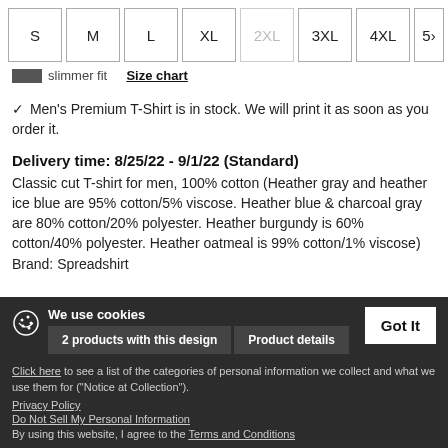S, M, L, XL, 2XL (disabled), 3XL, 4XL, 5X (partial)
slimmer fit  Size chart
✓ Men's Premium T-Shirt is in stock. We will print it as soon as you order it.
Delivery time: 8/25/22 - 9/1/22 (Standard)
Classic cut T-shirt for men, 100% cotton (Heather gray and heather ice blue are 95% cotton/5% viscose. Heather blue & charcoal gray are 80% cotton/20% polyester. Heather burgundy is 60% cotton/40% polyester. Heather oatmeal is 99% cotton/1% viscose) Brand: Spreadshirt
We use cookies
2 products with this design  Product details
Click here to see a list of the categories of personal information we collect and what we use them for ("Notice at Collection").
Privacy Policy
Do Not Sell My Personal Information
By using this website, I agree to the Terms and Conditions